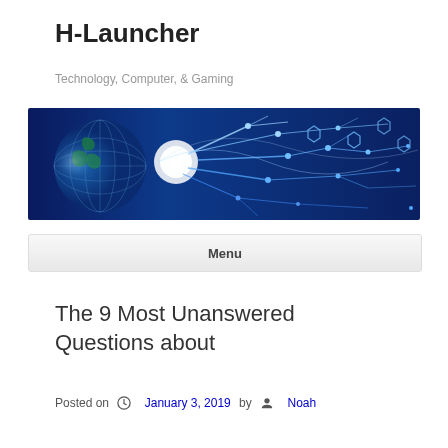H-Launcher
Technology, Computer, & Gaming
[Figure (illustration): Wide banner image with a dark blue background showing a glowing globe on the left and illuminated circuit board lines and nodes on the right, technology theme.]
Menu
The 9 Most Unanswered Questions about
Posted on  January 3, 2019 by  Noah